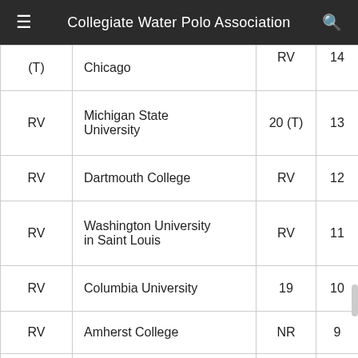Collegiate Water Polo Association
| (T) | Chicago | RV | 14 |
| RV | Michigan State University | 20 (T) | 13 |
| RV | Dartmouth College | RV | 12 |
| RV | Washington University in Saint Louis | RV | 11 |
| RV | Columbia University | 19 | 10 |
| RV | Amherst College | NR | 9 |
| RV | University of Maryland | RV | 8 |